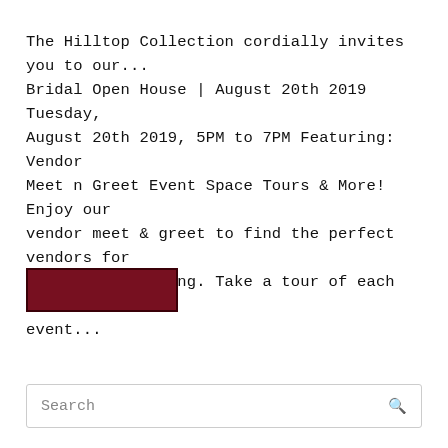The Hilltop Collection cordially invites you to our... Bridal Open House | August 20th 2019 Tuesday, August 20th 2019, 5PM to 7PM Featuring: Vendor Meet n Greet Event Space Tours & More! Enjoy our vendor meet & greet to find the perfect vendors for your dream wedding. Take a tour of each of our event...
[Figure (other): Dark red/maroon rectangular button element]
Search